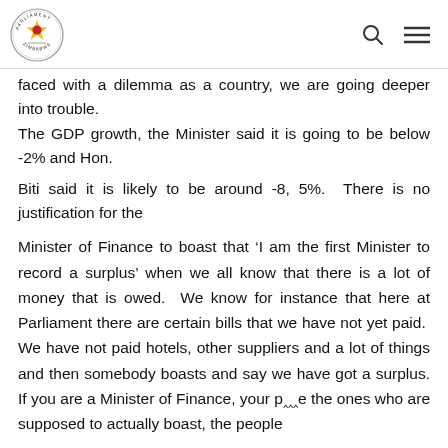[Zimbabwe Parliament logo] [search icon] [menu icon]
faced with a dilemma as a country, we are going deeper into trouble.
The GDP growth, the Minister said it is going to be below -2% and Hon.
Biti said it is likely to be around -8, 5%.  There is no justification for the
Minister of Finance to boast that ‘I am the first Minister to record a surplus’ when we all know that there is a lot of money that is owed.  We know for instance that here at Parliament there are certain bills that we have not yet paid.  We have not paid hotels, other suppliers and a lot of things and then somebody boasts and say we have got a surplus. If you are a Minister of Finance, your p[...] e the ones who are supposed to actually boast, the people